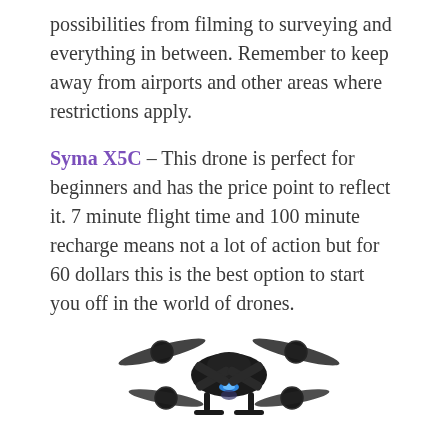possibilities from filming to surveying and everything in between. Remember to keep away from airports and other areas where restrictions apply.
Syma X5C – This drone is perfect for beginners and has the price point to reflect it. 7 minute flight time and 100 minute recharge means not a lot of action but for 60 dollars this is the best option to start you off in the world of drones.
[Figure (photo): Photo of a black Syma X5C quadcopter drone with four rotors, viewed from slightly above and in front, with a blue LED light visible underneath.]